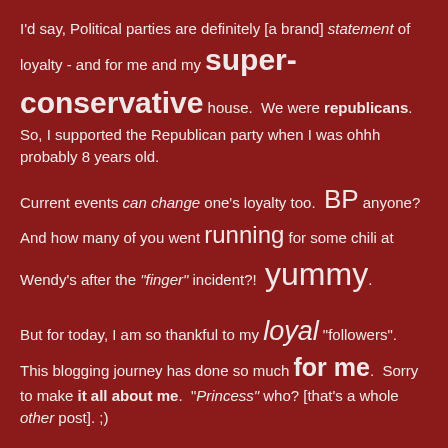I'd say, Political parties are definitely [a brand] statement of loyalty - and for me and my super-conservative house.  We were republicans.  So, I supported the Republican party when I was ohhh probably 8 years old.
Current events can change one's loyalty too.  BP anyone?  And how many of you went running for some chili at Wendy's after the "finger" incident?!  yummy.
But for today, I am so thankful to my loyal "followers".  This blogging journey has done so much for me.  Sorry to make it all about me.  "Princess" who? [that's a whole other post]. ;)
Thank you for sharing this journey of life, of living, of running, of doing, of blogging with me.